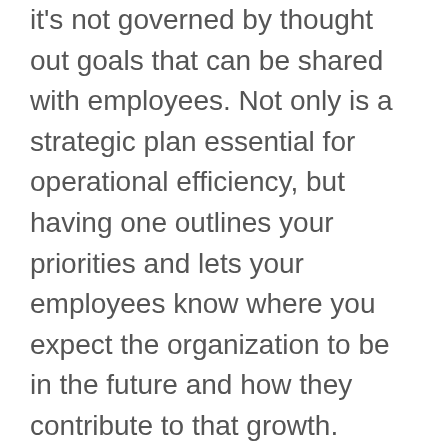it's not governed by thought out goals that can be shared with employees. Not only is a strategic plan essential for operational efficiency, but having one outlines your priorities and lets your employees know where you expect the organization to be in the future and how they contribute to that growth.
Motivation must come from something other than making money for an organization to have a strong culture. While financial success is typically one of the motivations for an organization, for